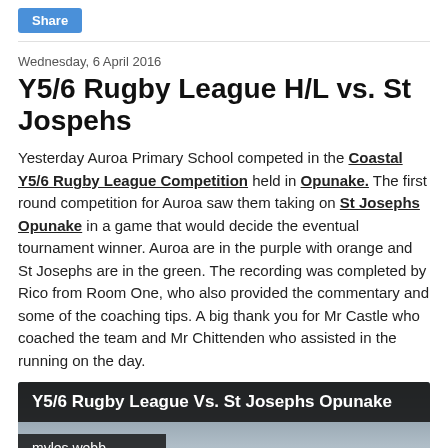Share
Wednesday, 6 April 2016
Y5/6 Rugby League H/L vs. St Jospehs
Yesterday Auroa Primary School competed in the Coastal Y5/6 Rugby League Competition held in Opunake. The first round competition for Auroa saw them taking on St Josephs Opunake in a game that would decide the eventual tournament winner. Auroa are in the purple with orange and St Josephs are in the green. The recording was completed by Rico from Room One, who also provided the commentary and some of the coaching tips. A big thank you for Mr Castle who coached the team and Mr Chittenden who assisted in the running on the day.
[Figure (screenshot): Video thumbnail showing 'Y5/6 Rugby League Vs. St Josephs Opunake' with author 'myles webb' overlaid on a dark outdoor background image]